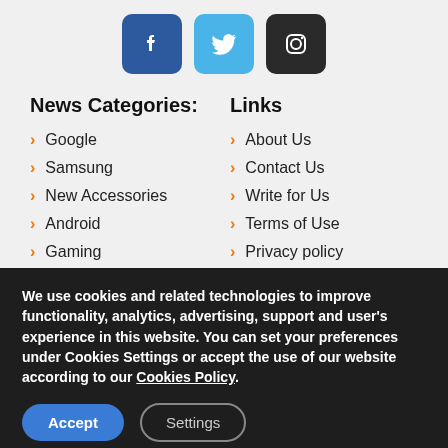[Figure (logo): Social media icons: Facebook (blue rounded square), Twitter (light blue rounded square), Instagram (dark/black rounded square)]
News Categories:
Links
Google
Samsung
New Accessories
Android
Gaming
OnePlus
About Us
Contact Us
Write for Us
Terms of Use
Privacy policy
Cookie Policy
We use cookies and related technologies to improve functionality, analytics, advertising, support and user's experience in this website. You can set your preferences under Cookies Settings or accept the use of our website according to our Cookies Policy.